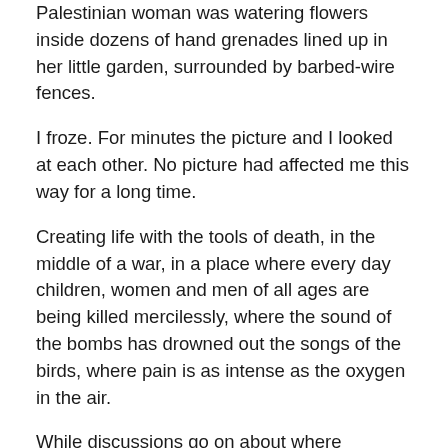Palestinian woman was watering flowers inside dozens of hand grenades lined up in her little garden, surrounded by barbed-wire fences.
I froze. For minutes the picture and I looked at each other. No picture had affected me this way for a long time.
Creating life with the tools of death, in the middle of a war, in a place where every day children, women and men of all ages are being killed mercilessly, where the sound of the bombs has drowned out the songs of the birds, where pain is as intense as the oxygen in the air.
While discussions go on about where freedom of speech and expression start and end, or where you draw the line… a single picture transfixes me.
I've always asserted in my articles that we are in a transition from the analogue to digital world and during this transition of transformation, women will have an important role and we will not be free unless we transcend the thought patterns forcibly imposed upon us. And now, this picture in front of me, as if it was silently saying everything my words fail to express.
Planting new life in spite of ideologies, religions, borders,